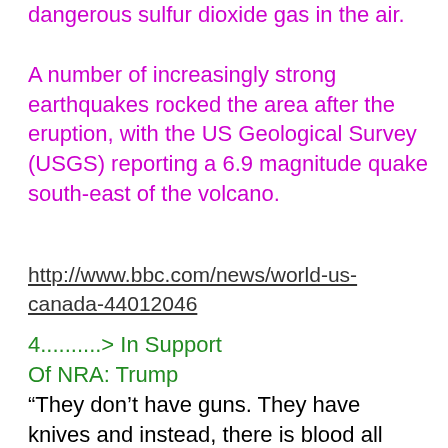dangerous sulfur dioxide gas in the air.
A number of increasingly strong earthquakes rocked the area after the eruption, with the US Geological Survey (USGS) reporting a 6.9 magnitude quake south-east of the volcano.
http://www.bbc.com/news/world-us-canada-44012046
4..........> In Support Of NRA: Trump
“They don’t have guns. They have knives and instead, there is blood all over the floors of the